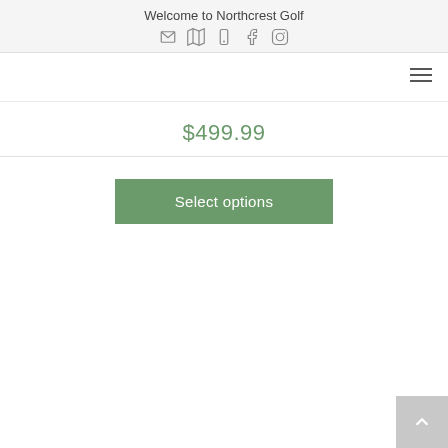Welcome to Northcrest Golf
[Figure (infographic): Row of 5 social/contact icons: envelope, map, phone, Facebook, Instagram]
[Figure (infographic): Hamburger menu icon (three horizontal lines) in top-right navigation bar]
$499.99
Select options
[Figure (infographic): Back-to-top button with upward-pointing chevron arrow in bottom-right corner]